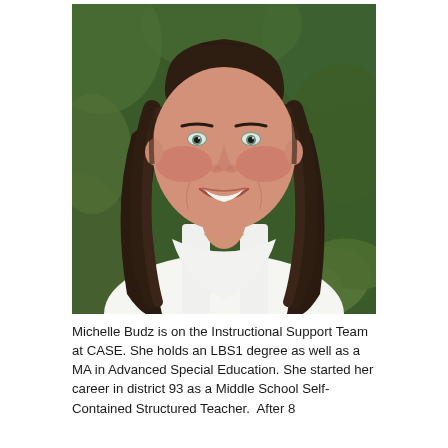[Figure (photo): Portrait photo of Michelle Budz, a woman with long dark brown wavy hair, wearing a white sleeveless top, smiling, with green leafy background outdoors.]
Michelle Budz is on the Instructional Support Team at CASE. She holds an LBS1 degree as well as a MA in Advanced Special Education. She started her career in district 93 as a Middle School Self-Contained Structured Teacher.  After 8